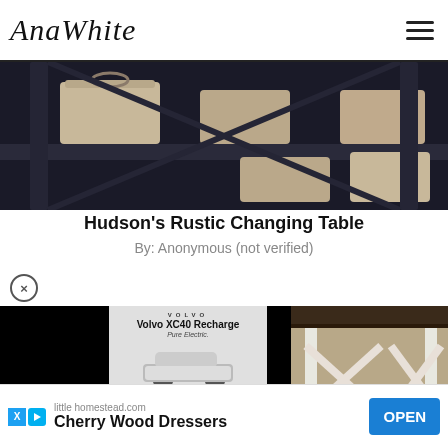AnaWhite
[Figure (photo): Dark-stained wooden shelf unit holding several beige fabric storage baskets with handles, viewed from below]
Hudson's Rustic Changing Table
By: Anonymous (not verified)
[Figure (photo): Advertisement overlay showing Volvo XC40 Recharge Pure Electric car with color selector dots and a dark call-to-action button, over a black background, alongside a partial photo of a white rustic changing table with cross-brace legs]
[Figure (advertisement): Bottom banner ad for littlehomestead.com promoting Cherry Wood Dressers with an OPEN button]